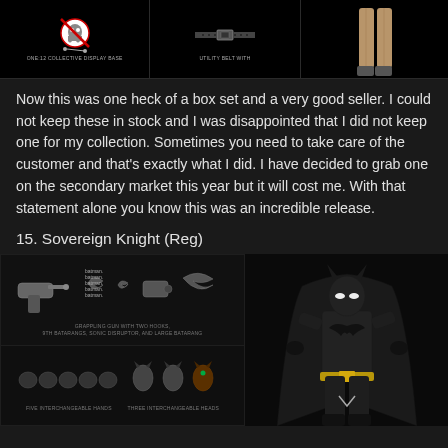[Figure (photo): Product display image showing Ghostbusters logo with display base label, a utility belt, and partial figure legs on dark background]
Now this was one heck of a box set and a very good seller. I could not keep these in stock and I was disappointed that I did not keep one for my collection. Sometimes you need to take care of the customer and that's exactly what I did. I have decided to grab one on the secondary market this year but it will cost me. With that statement alone you know this was an incredible release.
15. Sovereign Knight (Reg)
[Figure (photo): Product accessory display for Batman Sovereign Knight figure showing grappling gun with two hooks, batarangs, sonic disruptor, and large batarang in top section; five interchangeable hands and three interchangeable heads in bottom section; Batman figure in full costume on right side]